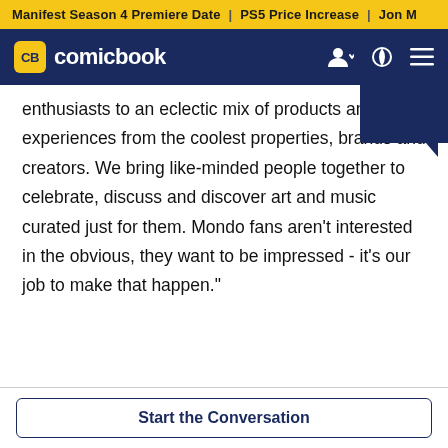Manifest Season 4 Premiere Date | PS5 Price Increase | Jon M
CB comicbook
enthusiasts to an eclectic mix of products and experiences from the coolest properties, brands and creators. We bring like-minded people together to celebrate, discuss and discover art and music curated just for them. Mondo fans aren't interested in the obvious, they want to be impressed - it's our job to make that happen."
Start the Conversation